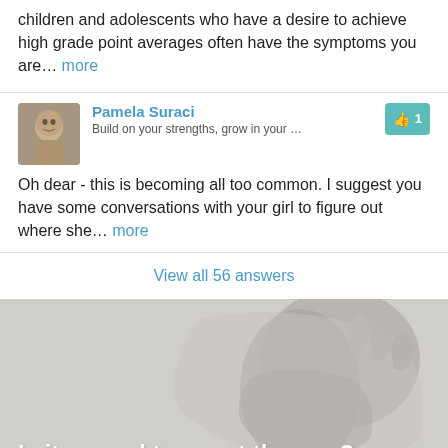children and adolescents who have a desire to achieve high grade point averages often have the symptoms you are... more
Pamela Suraci
Build on your strengths, grow in your ...
Oh dear - this is becoming all too common. I suggest you have some conversations with your girl to figure out where she... more
View all 56 answers
[Figure (photo): Grayscale photo of a person with a hand near their face, partially obscured, used as a background image for the section below.]
Is it normal to cry at therapy?